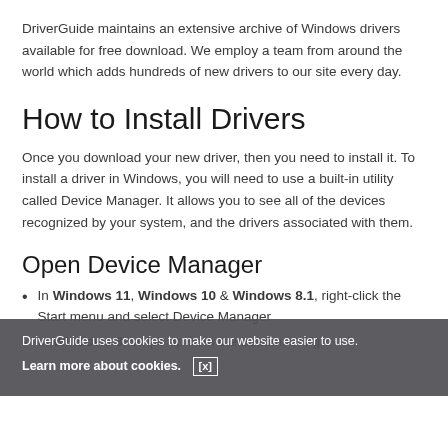DriverGuide maintains an extensive archive of Windows drivers available for free download. We employ a team from around the world which adds hundreds of new drivers to our site every day.
How to Install Drivers
Once you download your new driver, then you need to install it. To install a driver in Windows, you will need to use a built-in utility called Device Manager. It allows you to see all of the devices recognized by your system, and the drivers associated with them.
Open Device Manager
In Windows 11, Windows 10 & Windows 8.1, right-click the Start menu and select Device Manager
In Windows 8, swipe up from the bottom, or right-
DriverGuide uses cookies to make our website easier to use.
Learn more about cookies. [x]